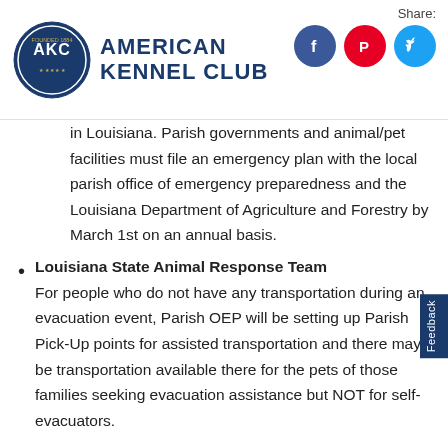American Kennel Club
in Louisiana. Parish governments and animal/pet facilities must file an emergency plan with the local parish office of emergency preparedness and the Louisiana Department of Agriculture and Forestry by March 1st on an annual basis.
Louisiana State Animal Response Team
For people who do not have any transportation during an evacuation event, Parish OEP will be setting up Parish Pick-Up points for assisted transportation and there may be transportation available there for the pets of those families seeking evacuation assistance but NOT for self-evacuators.
(partial bullet visible at bottom)